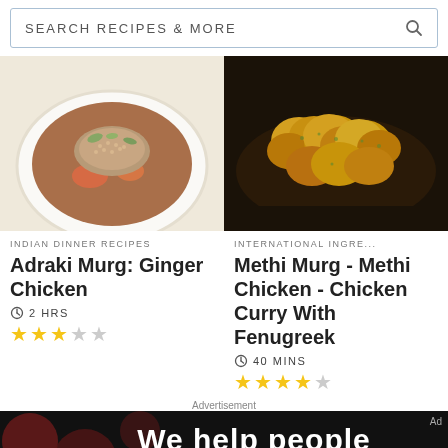SEARCH RECIPES & MORE
[Figure (photo): Bowl of Indian curry with sesame seeds and herbs - Adraki Murg Ginger Chicken]
INDIAN DINNER RECIPES
Adraki Murg: Ginger Chicken
2 HRS
3 out of 5 stars rating
[Figure (photo): Golden fried chicken pieces - Methi Murg Methi Chicken Curry With Fenugreek]
INTERNATIONAL INGRE...
Methi Murg - Methi Chicken - Chicken Curry With Fenugreek
40 MINS
4 out of 5 stars rating
Advertisement
[Figure (infographic): We help people - Dotdash Meredith advertisement banner on black background with red dots. Text reads: We help people find answers, solve problems and get inspired.]